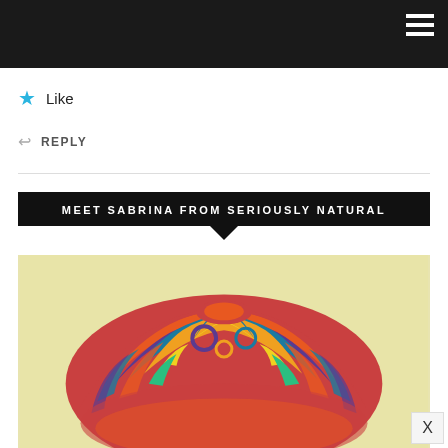That's awesome. I always forget to hit up those stores and when I finally get there I am a shopping fool. I'll try and remember when I need some new ones. Thanks for the heads up.
★ Like
↩ REPLY
MEET SABRINA FROM SERIOUSLY NATURAL
[Figure (photo): Photo of a person wearing a colorful turban/head wrap with orange, teal, purple, and yellow patterns against a light yellow background]